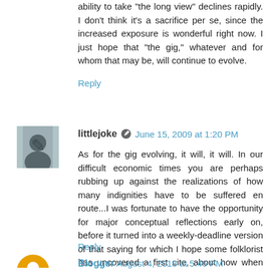ability to take "the long view" declines rapidly. I don't think it's a sacrifice per se, since the increased exposure is wonderful right now. I just hope that "the gig," whatever and for whom that may be, will continue to evolve.
Reply
[Figure (photo): Small avatar image of a person silhouette in dark tones]
littlejoke  June 15, 2009 at 1:20 PM
As for the gig evolving, it will, it will. In our difficult economic times you are perhaps rubbing up against the realizations of how many indignities have to be suffered en route...I was fortunate to have the opportunity for major conceptual reflections early on, before it turned into a weekly-deadline version of that saying for which I hope some folklorist has uncovered a first cite, about how when you are up to your ass in alligators it is hard to keep in mind that you came to drain the swamp.
Reply
[Figure (photo): Small orange/yellow circular avatar icon]
Blogger  August 4, 2018 at 5:46 PM